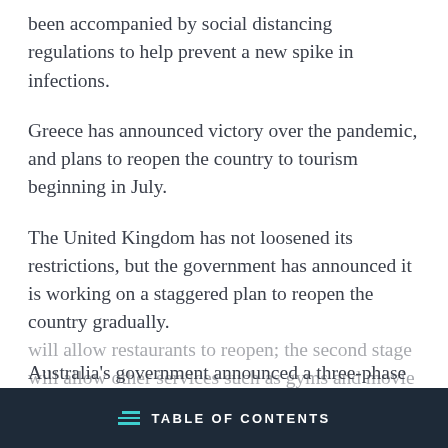been accompanied by social distancing regulations to help prevent a new spike in infections.
Greece has announced victory over the pandemic, and plans to reopen the country to tourism beginning in July.
The United Kingdom has not loosened its restrictions, but the government has announced it is working on a staggered plan to reopen the country gradually.
Australia's government announced a three-phase approach to reopening the country: The first stage will allow restaurants to reopen; the second stage will allow other services such as gyms and movie
TABLE OF CONTENTS